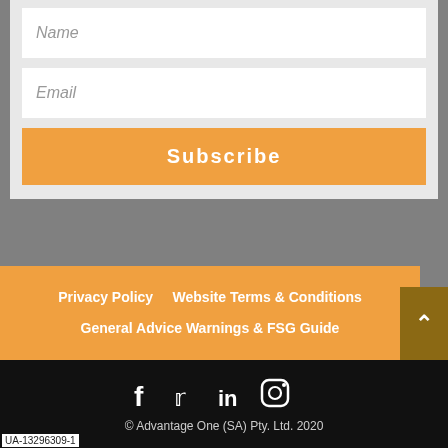Name
Email
Subscribe
Privacy Policy    Website Terms & Conditions    General Advice Warnings & FSG Guide
[Figure (infographic): Social media icons: Facebook, Twitter, LinkedIn, Instagram]
© Advantage One (SA) Pty. Ltd. 2020
UA-13296309-1